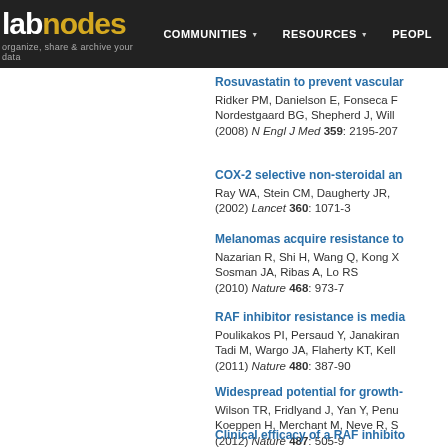labnodes — organize, share & archive your data | COMMUNITIES | RESOURCES | PEOPLE
Rosuvastatin to prevent vascular...
Ridker PM, Danielson E, Fonseca F...
Nordestgaard BG, Shepherd J, Will...
(2008) N Engl J Med 359: 2195-207
COX-2 selective non-steroidal an...
Ray WA, Stein CM, Daugherty JR, ...
(2002) Lancet 360: 1071-3
Melanomas acquire resistance to...
Nazarian R, Shi H, Wang Q, Kong X...
Sosman JA, Ribas A, Lo RS
(2010) Nature 468: 973-7
RAF inhibitor resistance is media...
Poulikakos PI, Persaud Y, Janakiran...
Tadi M, Wargo JA, Flaherty KT, Kell...
(2011) Nature 480: 387-90
Widespread potential for growth-...
Wilson TR, Fridlyand J, Yan Y, Penu...
Koeppen H, Merchant M, Neve R, S...
(2012) Nature 487: 505-9
Clinical efficacy of a RAF inhibito...